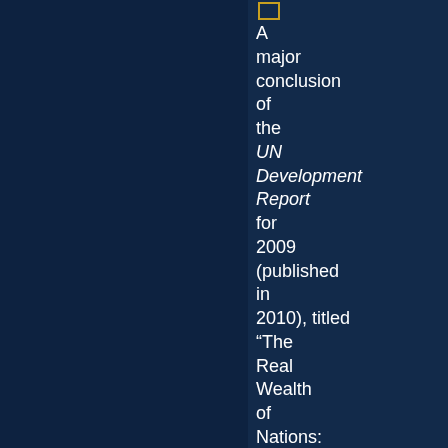A major conclusion of the UN Development Report for 2009 (published in 2010), titled “The Real Wealth of Nations: Pathways to Human